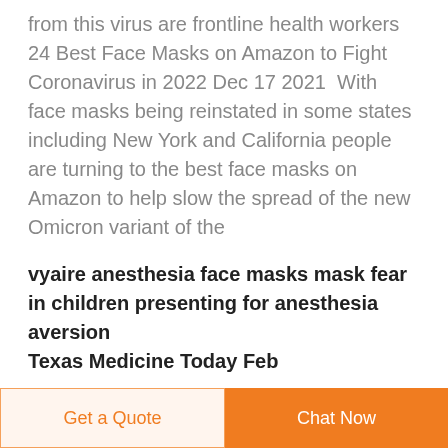from this virus are frontline health workers 24 Best Face Masks on Amazon to Fight Coronavirus in 2022 Dec 17 2021  With face masks being reinstated in some states including New York and California people are turning to the best face masks on Amazon to help slow the spread of the new Omicron variant of the
vyaire anesthesia face masks mask fear in children presenting for anesthesia aversion Texas Medicine Today Feb
Get a Quote  Chat Now